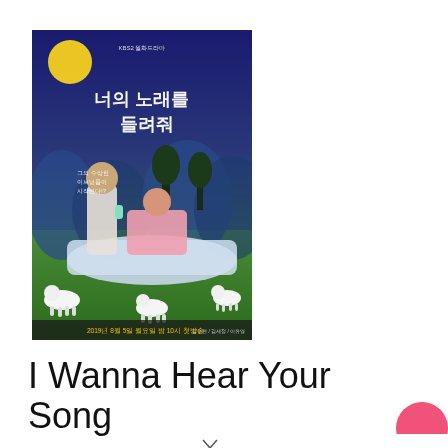[Figure (photo): Korean TV drama promotional poster for 'I Wanna Hear Your Song' (너의 노래를 들려줘). Shows a man and woman reclining on a white surface surrounded by small white lambs against a stylized night sky background with a yellow moon and Korean text. Bottom text shows '2019년 8월 5일 월요일 밤 10시 첫방송'.]
I Wanna Hear Your Song